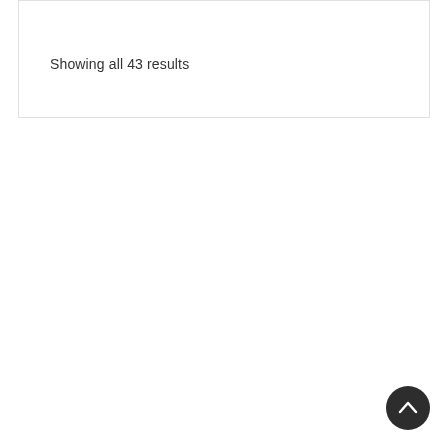Showing all 43 results
[Figure (other): Dark circular scroll-to-top button with an upward chevron arrow icon, positioned at the bottom-right corner of the page.]